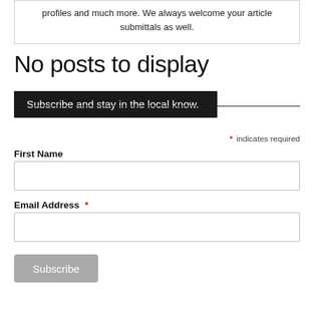profiles and much more. We always welcome your article submittals as well.
No posts to display
Subscribe and stay in the local know.
* indicates required
First Name
Email Address *
Subscribe